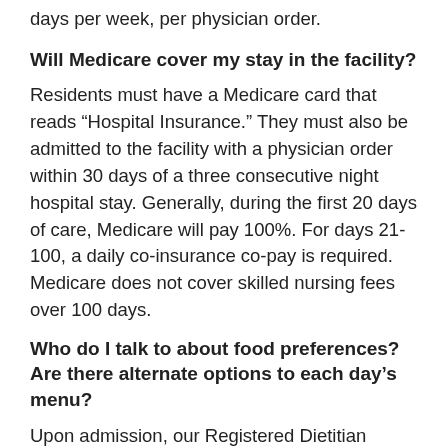days per week, per physician order.
Will Medicare cover my stay in the facility?
Residents must have a Medicare card that reads “Hospital Insurance.” They must also be admitted to the facility with a physician order within 30 days of a three consecutive night hospital stay. Generally, during the first 20 days of care, Medicare will pay 100%. For days 21-100, a daily co-insurance co-pay is required. Medicare does not cover skilled nursing fees over 100 days.
Who do I talk to about food preferences? Are there alternate options to each day’s menu?
Upon admission, our Registered Dietitian and/or Food Service Director will interview your loved one regarding special needs with regards to food preferences. Our own food service personnel